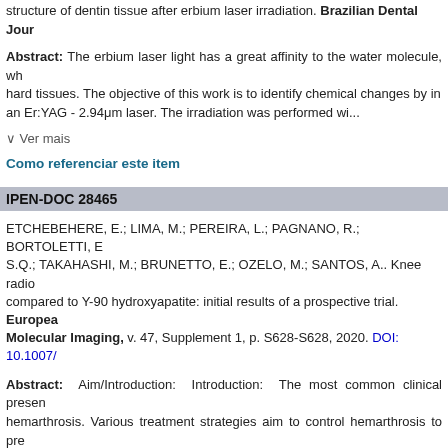structure of dentin tissue after erbium laser irradiation. Brazilian Dental Jour...
Abstract: The erbium laser light has a great affinity to the water molecule, wh... hard tissues. The objective of this work is to identify chemical changes by in... an Er:YAG - 2.94μm laser. The irradiation was performed wi...
∨ Ver mais
Como referenciar este item
IPEN-DOC 28465
ETCHEBEHERE, E.; LIMA, M.; PEREIRA, L.; PAGNANO, R.; BORTOLETTI, ... S.Q.; TAKAHASHI, M.; BRUNETTO, E.; OZELO, M.; SANTOS, A.. Knee radio... compared to Y-90 hydroxyapatite: initial results of a prospective trial. European Molecular Imaging, v. 47, Supplement 1, p. S628-S628, 2020. DOI: 10.1007/...
Abstract: Aim/Introduction: Introduction: The most common clinical presen... hemarthrosis. Various treatment strategies aim to control hemarthrosis to pre... radiosynovectomy with Y-90 hydroxyapatite (90YHA). A few studies have sho...
∨ Ver mais
Como referenciar este item
IPEN-DOC 28464